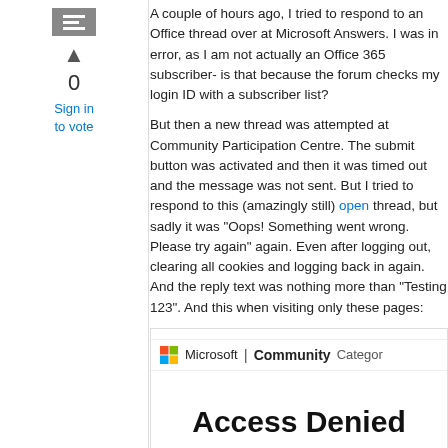[Figure (other): Vote widget with icon, upvote arrow, count 0, and sign-in link]
A couple of hours ago, I tried to respond to an Office thread over at Microsoft Answers. I was in error, as I am not actually an Office 365 subscriber- is that because the forum checks my login ID with a subscriber list?
But then a new thread was attempted at Community Participation Centre. The submit button was activated and then it was timed out and the message was not sent. But I tried to respond to this (amazingly still) open thread but sadly it was "Oops! Something went wrong. Please try again" again. Even after logging out, clearing all cookies and logging back in again. And the reply text was nothing more than "Testing 123". And this when visiting only these pages:
[Figure (screenshot): Microsoft Community breadcrumb navigation bar with Microsoft logo, Community link, and Category label, followed by Access Denied page showing 'Access Denied' heading and 'You are not authorized to access this page.' message]